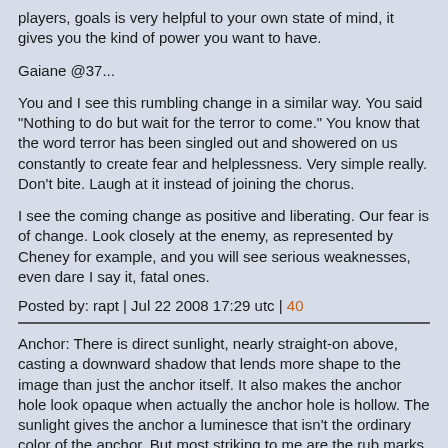players, goals is very helpful to your own state of mind, it gives you the kind of power you want to have.
Gaiane @37...
You and I see this rumbling change in a similar way. You said "Nothing to do but wait for the terror to come." You know that the word terror has been singled out and showered on us constantly to create fear and helplessness. Very simple really. Don't bite. Laugh at it instead of joining the chorus.
I see the coming change as positive and liberating. Our fear is of change. Look closely at the enemy, as represented by Cheney for example, and you will see serious weaknesses, even dare I say it, fatal ones.
Posted by: rapt | Jul 22 2008 17:29 utc | 40
Anchor: There is direct sunlight, nearly straight-on above, casting a downward shadow that lends more shape to the image than just the anchor itself. It also makes the anchor hole look opaque when actually the anchor hole is hollow. The sunlight gives the anchor a luminesce that isn't the ordinary color of the anchor. But most striking to me are the rub marks caused by the continuous bouncing of the anchor against the hull. It is as if the "devil horns" (as previously described) are carving out a hole big enough for the anchor